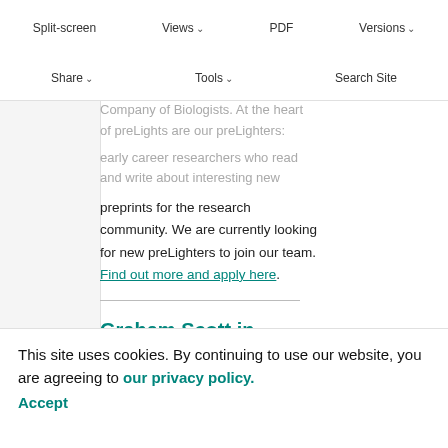Split-screen | Views | PDF | Versions | Share | Tools | Search Site
Company of Biologists. At the heart of preLights are our preLighters: early-career researchers who read and write about interesting new preprints for the research community. We are currently looking for new preLighters to join our team. Find out more and apply here.
Graham Scott in conversation with Big Biology
This site uses cookies. By continuing to use our website, you are agreeing to our privacy policy. Accept